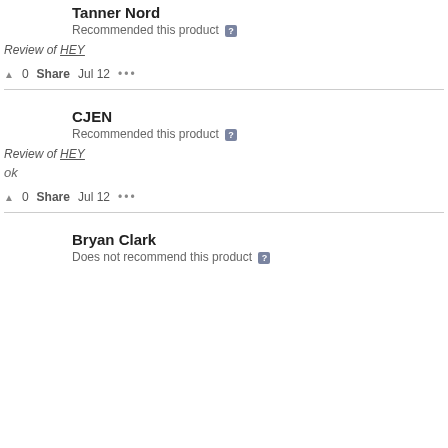Tanner Nord
Recommended this product
Review of HEY
▲ 0   Share   Jul 12   •••
CJEN
Recommended this product
Review of HEY
ok
▲ 0   Share   Jul 12   •••
Bryan Clark
Does not recommend this product